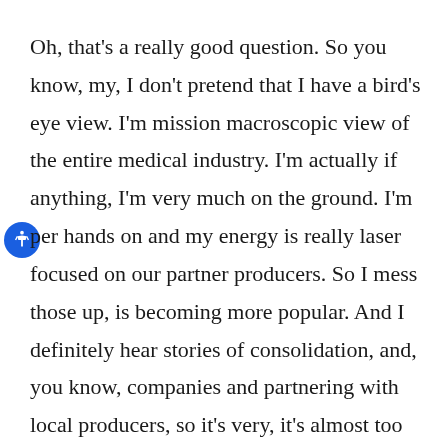Oh, that's a really good question. So you know, my, I don't pretend that I have a bird's eye view. I'm mission macroscopic view of the entire medical industry. I'm actually if anything, I'm very much on the ground. I'm per hands on and my energy is really laser focused on our partner producers. So I mess those up, is becoming more popular. And I definitely hear stories of consolidation, and, you know, companies and partnering with local producers, so it's very, it's almost too complicated, too wide of a topic for me to dive into. Because you know, it's almost the...